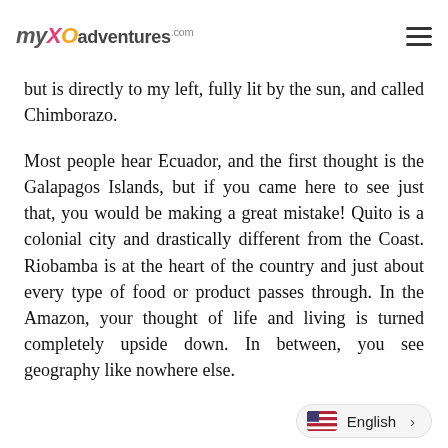myXOadventures.com
but is directly to my left, fully lit by the sun, and called Chimborazo.
Most people hear Ecuador, and the first thought is the Galapagos Islands, but if you came here to see just that, you would be making a great mistake! Quito is a colonial city and drastically different from the Coast. Riobamba is at the heart of the country and just about every type of food or product passes through. In the Amazon, your thought of life and living is turned completely upside down. In between, you see geography like nowhere else.